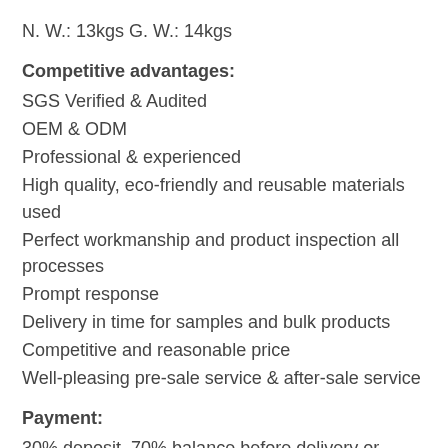N. W.: 13kgs G. W.: 14kgs
Competitive advantages:
SGS Verified & Audited
OEM & ODM
Professional & experienced
High quality, eco-friendly and reusable materials used
Perfect workmanship and product inspection all processes
Prompt response
Delivery in time for samples and bulk products
Competitive and reasonable price
Well-pleasing pre-sale service & after-sale service
Payment:
30% deposit, 70% balance before delivery or against copy BL.
Other specific issues can negotiate.